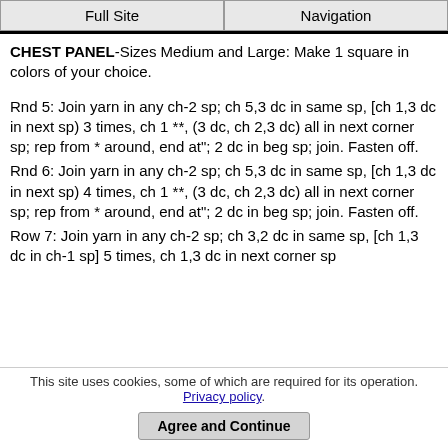Full Site | Navigation
CHEST PANEL-Sizes Medium and Large: Make 1 square in colors of your choice.
Rnd 5: Join yarn in any ch-2 sp; ch 5,3 dc in same sp, [ch 1,3 dc in next sp) 3 times, ch 1 **, (3 dc, ch 2,3 dc) all in next corner sp; rep from * around, end at"; 2 dc in beg sp; join. Fasten off.
Rnd 6: Join yarn in any ch-2 sp; ch 5,3 dc in same sp, [ch 1,3 dc in next sp) 4 times, ch 1 **, (3 dc, ch 2,3 dc) all in next corner sp; rep from * around, end at"; 2 dc in beg sp; join. Fasten off.
Row 7: Join yarn in any ch-2 sp; ch 3,2 dc in same sp, [ch 1,3 dc in ch-1 sp] 5 times, ch 1,3 dc in next corner sp...
This site uses cookies, some of which are required for its operation. Privacy policy.
Agree and Continue